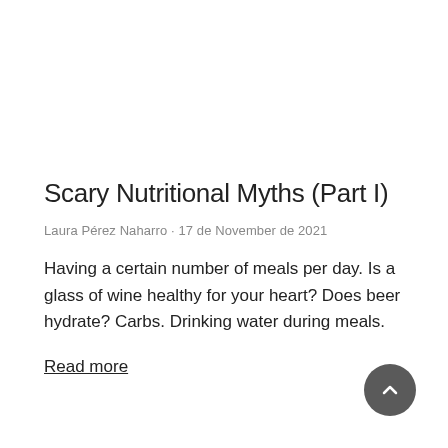Scary Nutritional Myths (Part I)
Laura Pérez Naharro · 17 de November de 2021
Having a certain number of meals per day. Is a glass of wine healthy for your heart? Does beer hydrate? Carbs. Drinking water during meals.
Read more